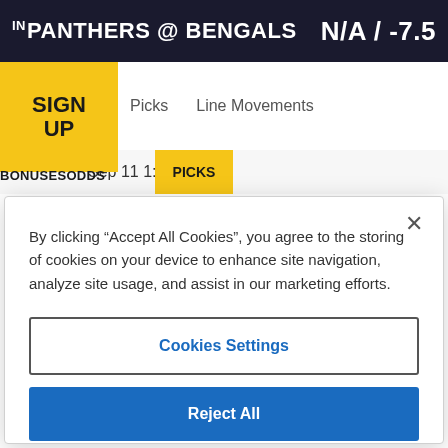IN PANTHERS @ BENGALS   N/A / -7.5
SIGN UP BONUS ODDS PICKS
Picks   Line Movements
Sep 11 1:00 PM ET
By clicking "Accept All Cookies", you agree to the storing of cookies on your device to enhance site navigation, analyze site usage, and assist in our marketing efforts.
Cookies Settings
Reject All
Accept All Cookies